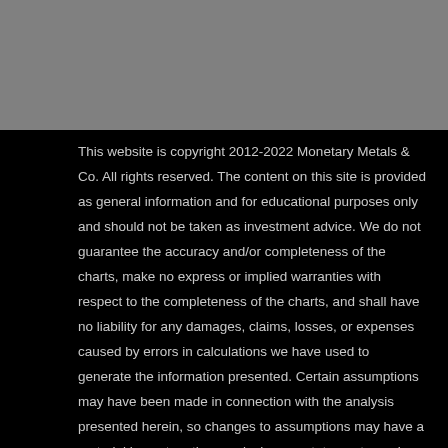This website is copyright 2012-2022 Monetary Metals & Co. All rights reserved. The content on this site is provided as general information and for educational purposes only and should not be taken as investment advice. We do not guarantee the accuracy and/or completeness of the charts, make no express or implied warranties with respect to the completeness of the charts, and shall have no liability for any damages, claims, losses, or expenses caused by errors in calculations we have used to generate the information presented. Certain assumptions may have been made in connection with the analysis presented herein, so changes to assumptions may have a material impact on the conclusions or statements made on this site. Past performance is not indicative of future results. Site content shall not be construed as a recommendation to buy or sell any security, financial instrument, physical metal, or to participate in any particular